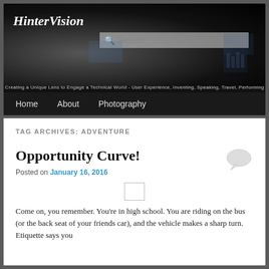[Figure (screenshot): HinterVision website header with sunglasses photo background, site title 'HinterVision' in bold italic white, search box, and tagline 'Creating a Unique Lens to Engage a Technical World - User Experience, Inventing, Speaking, Travel, Performing']
Home   About   Photography
TAG ARCHIVES: ADVENTURE
Opportunity Curve!
Posted on January 16, 2016
[Figure (illustration): Small blank/white placeholder image box]
Come on, you remember. You’re in high school. You are riding on the bus (or the back seat of your friends car), and the vehicle makes a sharp turn. Etiquette says you